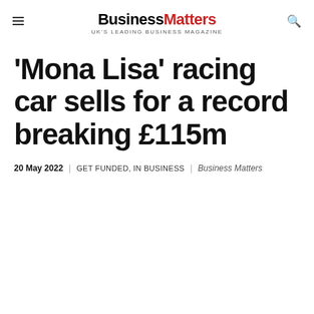Business Matters — UK'S LEADING BUSINESS MAGAZINE
'Mona Lisa' racing car sells for a record breaking £115m
20 May 2022  GET FUNDED, IN BUSINESS  Business Matters